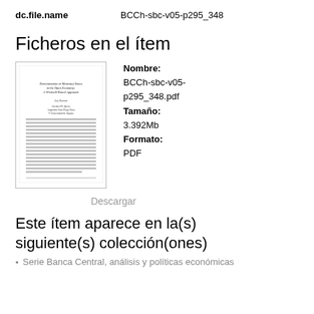dc.file.name    BCCh-sbc-v05-p295_348
Ficheros en el ítem
[Figure (other): Thumbnail preview of a document page with title text and body text columns]
Nombre: BCCh-sbc-v05-p295_348.pdf
Tamaño: 3.392Mb
Formato: PDF
Descargar
Este ítem aparece en la(s) siguiente(s) colección(ones)
Serie Banca Central, análisis y políticas económicas